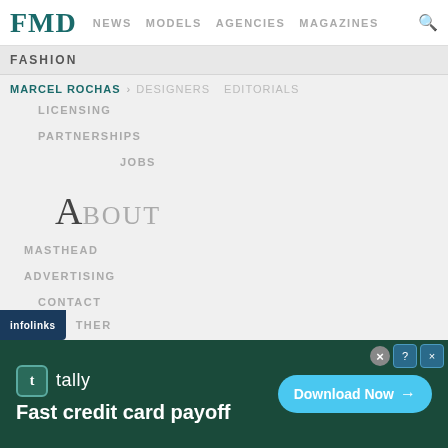FMD  NEWS  MODELS  AGENCIES  MAGAZINES
FASHION
MARCEL ROCHAS  >  DESIGNERS  EDITORIALS
LICENSING
PARTNERSHIPS
JOBS
ABOUT
MASTHEAD
ADVERTISING
CONTACT
LISTED
PROFILES
[Figure (screenshot): Infolinks advertisement banner for Tally app: 'Fast credit card payoff' with Download Now button on dark green background]